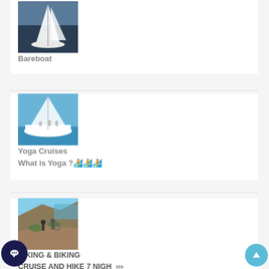[Figure (photo): Aerial view of a sailboat (bareboat) on dark water with white sails]
Bareboat
[Figure (photo): Sailboat on blue water with people on deck, yoga cruise theme]
Yoga Cruises
What is Yoga ?🏄🏄🏄
[Figure (photo): People hiking and biking on a rocky coastal cliff trail]
HIKING & BIKING
CRUISE AND HIKE 7 NIGH >>>